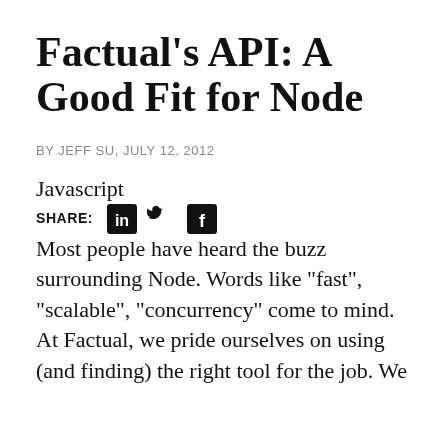Factual’s API: A Good Fit for Node
BY JEFF SU, JULY 12, 2012
Javascript
SHARE:
Most people have heard the buzz surrounding Node. Words like “fast”, “scalable”, “concurrency” come to mind. At Factual, we pride ourselves on using (and finding) the right tool for the job. We